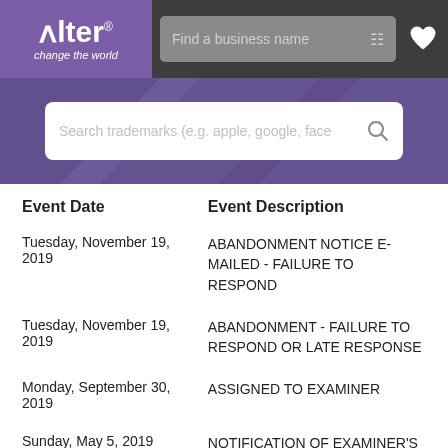[Figure (logo): Alter 'change the world' logo on purple background with search bar navigation]
[Figure (screenshot): Purple banner with trademark search box: 'Search trademarks (e.g. apple, google, face']
| Event Date | Event Description |
| --- | --- |
| Tuesday, November 19, 2019 | ABANDONMENT NOTICE E-MAILED - FAILURE TO RESPOND |
| Tuesday, November 19, 2019 | ABANDONMENT - FAILURE TO RESPOND OR LATE RESPONSE |
| Monday, September 30, 2019 | ASSIGNED TO EXAMINER |
| Sunday, May 5, 2019 | NOTIFICATION OF EXAMINER'S |